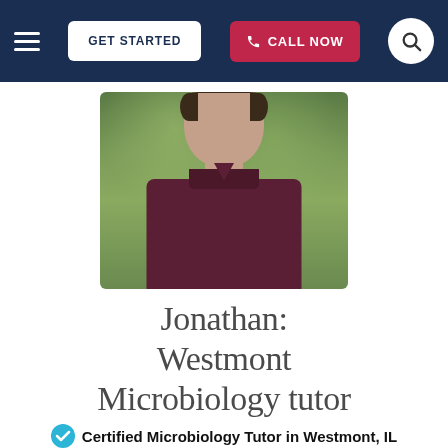GET STARTED | CALL NOW
[Figure (photo): Portrait photo of Jonathan, a young man with short dark hair wearing a dark maroon/burgundy button-up shirt, smiling, with green trees in the background.]
Jonathan: Westmont Microbiology tutor
Certified Microbiology Tutor in Westmont, IL